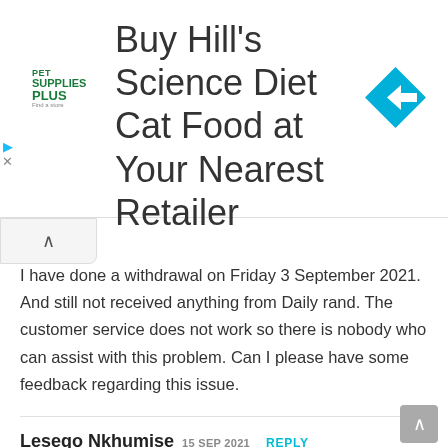[Figure (screenshot): Advertisement banner for Pet Supplies Plus featuring Hill's Science Diet Cat Food with a blue directional arrow icon and green Pet Supplies Plus logo]
I have done a withdrawal on Friday 3 September 2021. And still not received anything from Daily rand. The customer service does not work so there is nobody who can assist with this problem. Can I please have some feedback regarding this issue.
Lesego Nkhumise 15 SEP 2021 REPLY
This app isn't available
Mohau 19 SEP 2021 REPLY